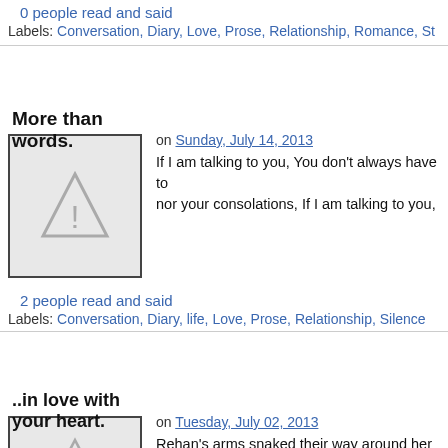0 people read and said
Labels: Conversation, Diary, Love, Prose, Relationship, Romance, St...
More than words.
[Figure (illustration): Placeholder image with warning triangle icon on grey background]
on Sunday, July 14, 2013
If I am talking to you, You don't always have to nor your consolations, If I am talking to you,
2 people read and said
Labels: Conversation, Diary, life, Love, Prose, Relationship, Silence
..in love with your heart.
[Figure (illustration): Placeholder image with warning triangle icon on grey background]
on Tuesday, July 02, 2013
Rehan's arms snaked their way around her wa... her ear when Ria was lost in her own world loo...